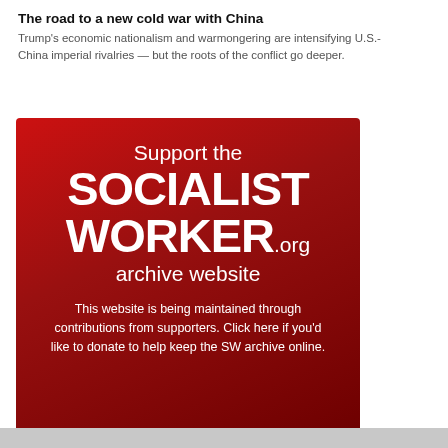The road to a new cold war with China
Trump's economic nationalism and warmongering are intensifying U.S.-China imperial rivalries — but the roots of the conflict go deeper.
[Figure (other): Red gradient advertisement box for SocialistWorker.org archive website with white text reading: Support the SOCIALIST WORKER.org archive website. This website is being maintained through contributions from supporters. Click here if you'd like to donate to help keep the SW archive online.]